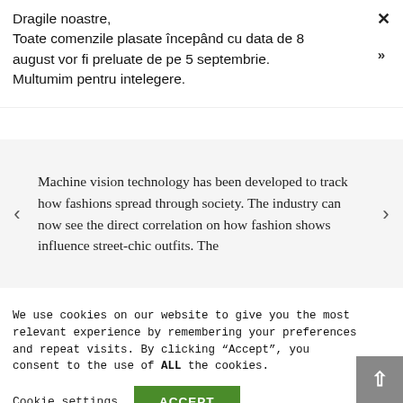Dragile noastre,
Toate comenzile plasate începând cu data de 8 august vor fi preluate de pe 5 septembrie. Multumim pentru intelegere.
Machine vision technology has been developed to track how fashions spread through society. The industry can now see the direct correlation on how fashion shows influence street-chic outfits. The
We use cookies on our website to give you the most relevant experience by remembering your preferences and repeat visits. By clicking "Accept", you consent to the use of ALL the cookies.
Cookie settings
ACCEPT